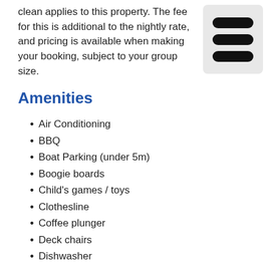clean applies to this property. The fee for this is additional to the nightly rate, and pricing is available when making your booking, subject to your group size.
[Figure (other): Hamburger menu icon with three horizontal bars on a light grey rounded rectangle background]
Amenities
Air Conditioning
BBQ
Boat Parking (under 5m)
Boogie boards
Child's games / toys
Clothesline
Coffee plunger
Deck chairs
Dishwasher
Driveway (private)
Dryer
Drying room
DVD player
Ensuite
Fenced (partially)
Freeview
Freezer
Fridge